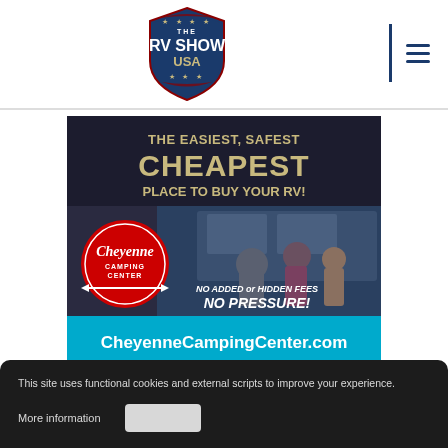The RV Show USA — navigation header
[Figure (advertisement): Cheyenne Camping Center advertisement. Dark background with gold text reading 'THE EASIEST, SAFEST CHEAPEST PLACE TO BUY YOUR RV!'. Red circle logo with Cheyenne Camping Center script text. Photo of family with RV. Text: 'NO ADDED or HIDDEN FEES NO PRESSURE!' Blue bottom bar: 'CheyenneCampingCenter.com']
This site uses functional cookies and external scripts to improve your experience.
More information